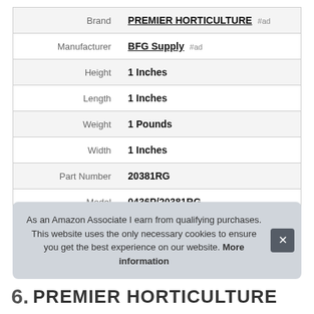|  |  |
| --- | --- |
| Brand | PREMIER HORTICULTURE #ad |
| Manufacturer | BFG Supply #ad |
| Height | 1 Inches |
| Length | 1 Inches |
| Weight | 1 Pounds |
| Width | 1 Inches |
| Part Number | 20381RG |
| Model | 0436P/20381RG |
As an Amazon Associate I earn from qualifying purchases. This website uses the only necessary cookies to ensure you get the best experience on our website. More information
6. PREMIER HORTICULTURE